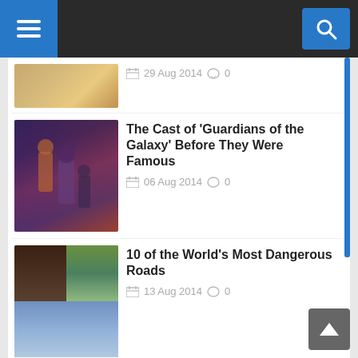[Figure (screenshot): Navigation bar with hamburger menu button on left and search button on right, dark background]
29 Aug 2014  0
The Cast of ‘Guardians of the Galaxy’ Before They Were Famous
06 Aug 2014  0
10 of the World's Most Dangerous Roads
13 Aug 2014  0
COMICS
[Figure (illustration): Blurred triangle/arrow graphic in grey on white background, partial view of a comics image]